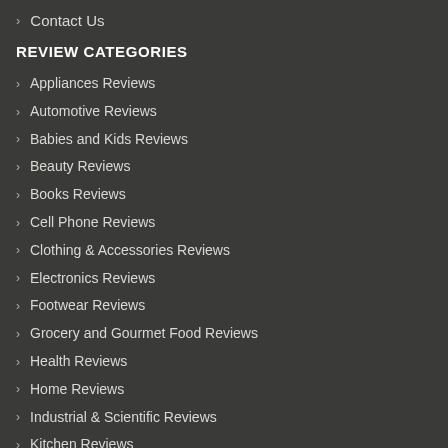Contact Us
REVIEW CATEGORIES
Appliances Reviews
Automotive Reviews
Babies and Kids Reviews
Beauty Reviews
Books Reviews
Cell Phone Reviews
Clothing & Accessories Reviews
Electronics Reviews
Footwear Reviews
Grocery and Gourmet Food Reviews
Health Reviews
Home Reviews
Industrial & Scientific Reviews
Kitchen Reviews